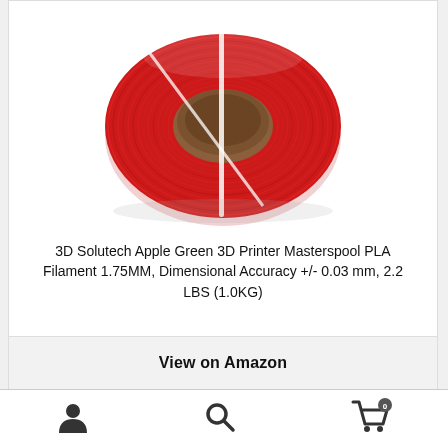[Figure (photo): A large spool of red 3D printer PLA filament on a cardboard core, with white zip ties visible, photographed on a white background.]
3D Solutech Apple Green 3D Printer Masterspool PLA Filament 1.75MM, Dimensional Accuracy +/- 0.03 mm, 2.2 LBS (1.0KG)
View on Amazon
[Figure (infographic): Bottom navigation bar with user/account icon, search icon, and shopping cart icon with badge showing '0'.]